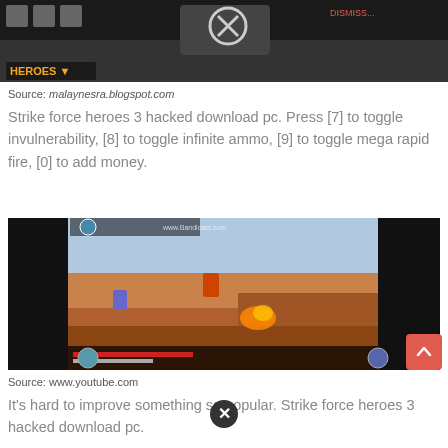[Figure (screenshot): Strike Force Heroes game screenshot showing heroes menu with a character vehicle, HEROES label in yellow at bottom left, dismiss button top right. Partial crop at top of page.]
Source: malaynesra.blogspot.com
Strike force heroes 3 hacked download pc. Press [7] to toggle invulnerability, [8] to toggle infinite ammo, [9] to toggle mega rapid fire, [0] to add money.
[Figure (screenshot): Strike Force Heroes 2 gameplay screenshot showing side-scrolling action with pixel characters fighting on rocky desert terrain, Bandicam watermark visible, HUD elements at bottom.]
Source: www.youtube.com
It's hard to improve something so popular. Strike force heroes 3 hacked download pc.